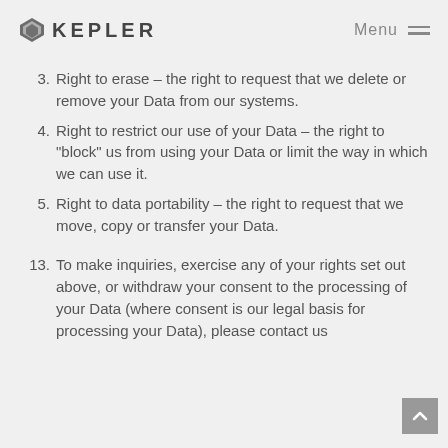KEPLER   Menu
3. Right to erase – the right to request that we delete or remove your Data from our systems.
4. Right to restrict our use of your Data – the right to “block” us from using your Data or limit the way in which we can use it.
5. Right to data portability – the right to request that we move, copy or transfer your Data.
13. To make inquiries, exercise any of your rights set out above, or withdraw your consent to the processing of your Data (where consent is our legal basis for processing your Data), please contact us